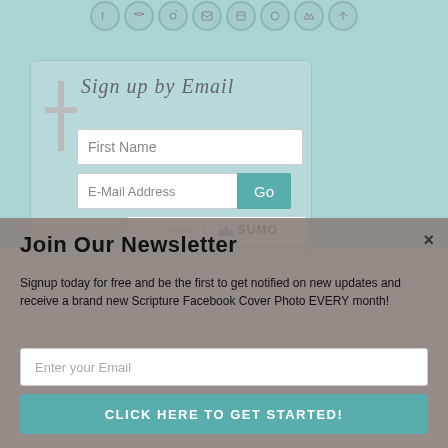[Figure (screenshot): Social media sharing icon circles at the top of the page on a teal/light blue background]
[Figure (screenshot): Email sign-up widget with a cross icon, 'Sign up by Email' heading, First Name input, E-Mail Address input with Go button, and Powered by SUMO badge]
Join Our Newsletter
Signup today for free and be the first to get notified on new updates and receive a brand new Scripture Facebook Cover Photo EVERY month!
Enter your Email
CLICK HERE TO GET STARTED!